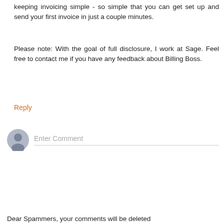keeping invoicing simple - so simple that you can get set up and send your first invoice in just a couple minutes.
Please note: With the goal of full disclosure, I work at Sage. Feel free to contact me if you have any feedback about Billing Boss.
Reply
[Figure (illustration): User avatar placeholder icon (grey silhouette on light blue-grey circle background) with an 'Enter Comment' text input field below a horizontal line]
Dear Spammers, your comments will be deleted